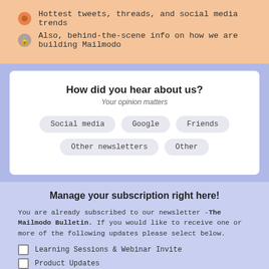Hottest tweets, threads, and social media trends
Also, behind-the-scene info on how we are building Mailmodo
[Figure (infographic): Survey card asking 'How did you hear about us?' with subtitle 'Your opinion matters' and choice buttons: Social media, Google, Friends, Other newsletters, Other]
Manage your subscription right here!
You are already subscribed to our newsletter -The Mailmodo Bulletin. If you would like to receive one or more of the following updates please select below.
Learning Sessions & Webinar Invite
Product Updates
Exclusive Offers and Deals on Mailmodo
[Figure (infographic): Social media icons: Facebook, Instagram, Twitter, LinkedIn]